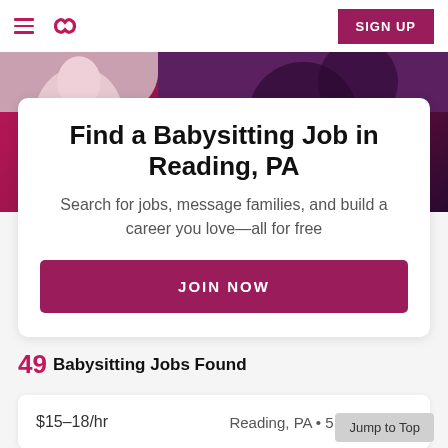Sittercity navigation header with hamburger menu, logo, and SIGN UP button
Find a Babysitting Job in Reading, PA
Search for jobs, message families, and build a career you love—all for free
JOIN NOW
49 Babysitting Jobs Found
$15–18/hr    Reading, PA • 5 miles away
Jump to Top